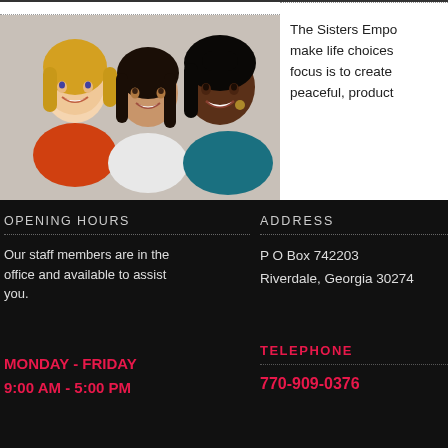[Figure (photo): Three smiling women posing together — one with blonde hair in orange top, one with dark hair in white top, one with dark hair in teal top]
The Sisters Empo make life choices focus is to create peaceful, product
OPENING HOURS
Our staff members are in the office and available to assist you.
MONDAY - FRIDAY
9:00 AM - 5:00 PM
ADDRESS
P O Box 742203
Riverdale, Georgia 30274
TELEPHONE
770-909-0376